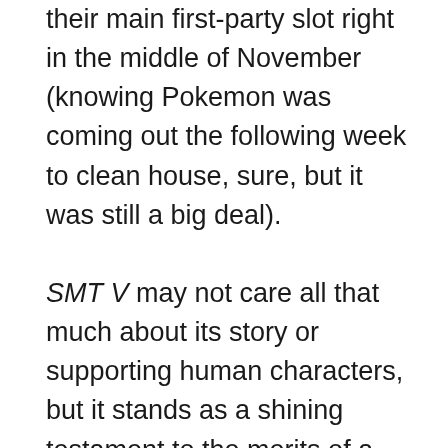their main first-party slot right in the middle of November (knowing Pokemon was coming out the following week to clean house, sure, but it was still a big deal).

SMT V may not care all that much about its story or supporting human characters, but it stands as a shining testament to the merits of a rock-solid battle system using a crisp UI – especially when paired with deep team customisation mechanics built to last. Boasting a stunning main character design and truly rewarding nook-and-cranny exploration, this is a game I suspect I'll be playing for a long time yet.